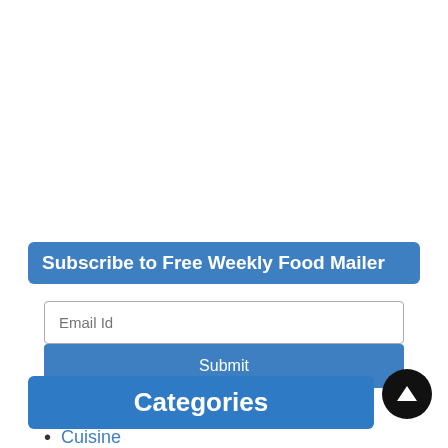Subscribe to Free Weekly Food Mailer
Email Id
Submit
Categories
Cuisine